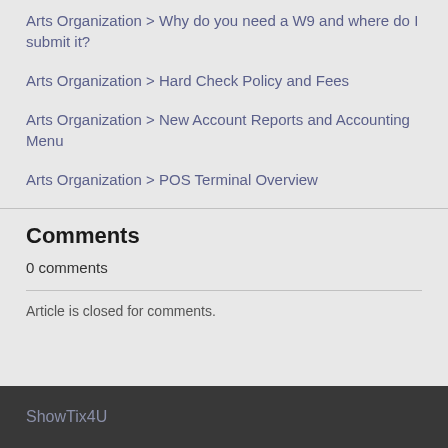Arts Organization > Why do you need a W9 and where do I submit it?
Arts Organization > Hard Check Policy and Fees
Arts Organization > New Account Reports and Accounting Menu
Arts Organization > POS Terminal Overview
Comments
0 comments
Article is closed for comments.
ShowTix4U